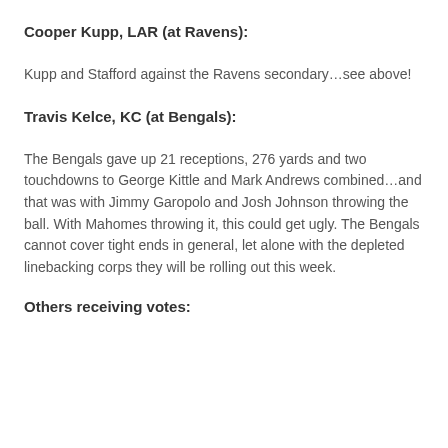Cooper Kupp, LAR (at Ravens):
Kupp and Stafford against the Ravens secondary…see above!
Travis Kelce, KC (at Bengals):
The Bengals gave up 21 receptions, 276 yards and two touchdowns to George Kittle and Mark Andrews combined…and that was with Jimmy Garopolo and Josh Johnson throwing the ball. With Mahomes throwing it, this could get ugly. The Bengals cannot cover tight ends in general, let alone with the depleted linebacking corps they will be rolling out this week.
Others receiving votes: